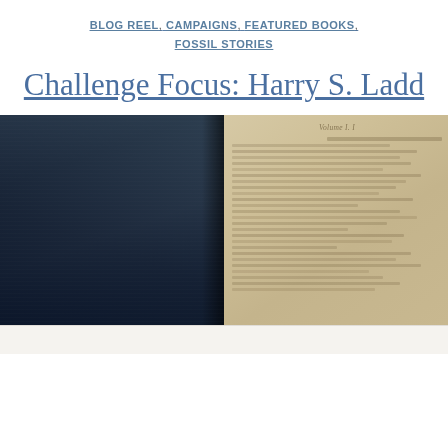BLOG REEL, CAMPAIGNS, FEATURED BOOKS, FOSSIL STORIES
Challenge Focus: Harry S. Ladd
[Figure (photo): Two-panel image showing a dark blue notebook cover on the left and an open handwritten manuscript page on the right, with 'Volume I' visible at the top of the right page.]